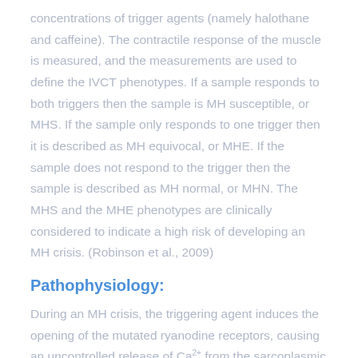concentrations of trigger agents (namely halothane and caffeine). The contractile response of the muscle is measured, and the measurements are used to define the IVCT phenotypes. If a sample responds to both triggers then the sample is MH susceptible, or MHS. If the sample only responds to one trigger then it is described as MH equivocal, or MHE. If the sample does not respond to the trigger then the sample is described as MH normal, or MHN. The MHS and the MHE phenotypes are clinically considered to indicate a high risk of developing an MH crisis. (Robinson et al., 2009)
Pathophysiology:
During an MH crisis, the triggering agent induces the opening of the mutated ryanodine receptors, causing an uncontrolled release of Ca2+ from the sarcoplasmic reticulum. This results in prolonged skeletal muscle activation, manifesting itself as